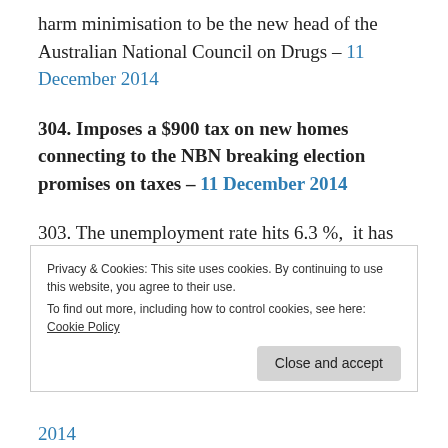harm minimisation to be the new head of the Australian National Council on Drugs – 11 December 2014
304. Imposes a $900 tax on new homes connecting to the NBN breaking election promises on taxes – 11 December 2014
303. The unemployment rate hits 6.3 %, it has not been this high since 2002 when Tony Abbott was Minister for Employment and Industrial
Privacy & Cookies: This site uses cookies. By continuing to use this website, you agree to their use.
To find out more, including how to control cookies, see here: Cookie Policy
Close and accept
2014